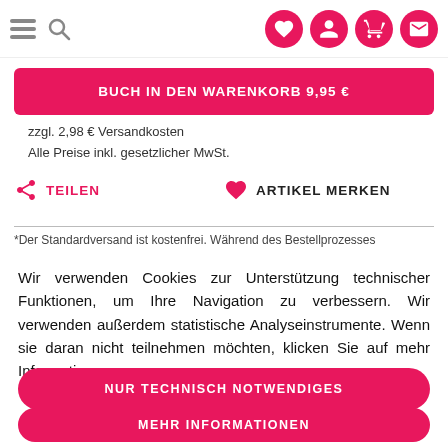Navigation bar with hamburger menu, search icon, heart, account, cart, and mail icons
BUCH IN DEN WARENKORB 9,95 €
zzgl. 2,98 € Versandkosten
Alle Preise inkl. gesetzlicher MwSt.
TEILEN   ARTIKEL MERKEN
*Der Standardversand ist kostenfrei. Während des Bestellprozesses
Wir verwenden Cookies zur Unterstützung technischer Funktionen, um Ihre Navigation zu verbessern. Wir verwenden außerdem statistische Analyseinstrumente. Wenn sie daran nicht teilnehmen möchten, klicken Sie auf mehr Informationen.
NUR TECHNISCH NOTWENDIGES
MEHR INFORMATIONEN
ALLES AKZEPTIEREN